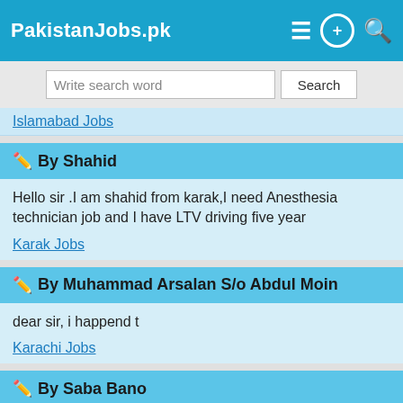PakistanJobs.pk
Write search word | Search
Islamabad Jobs
✏️ By Shahid
Hello sir .I am shahid from karak,I need Anesthesia technician job and I have LTV driving five year
Karak Jobs
✏️ By Muhammad Arsalan S/o Abdul Moin
dear sir, i happend t
Karachi Jobs
✏️ By Saba Bano
Dear HR With reference to the Position of Finance, please find my resume attached. My brief credent
Karachi Jobs
✏️ By Aftab ilyas
I am mochanical Foroman, I have 12 years experionco